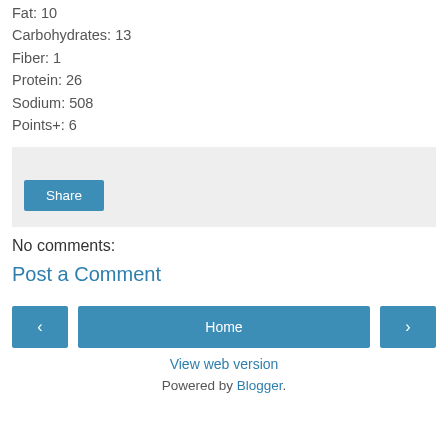Fat: 10
Carbohydrates: 13
Fiber: 1
Protein: 26
Sodium: 508
Points+: 6
[Figure (other): Share button area with light gray background and a blue Share button]
No comments:
Post a Comment
Home navigation row with left arrow, Home button, right arrow
View web version
Powered by Blogger.